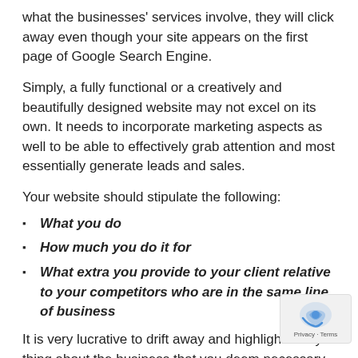what the businesses' services involve, they will click away even though your site appears on the first page of Google Search Engine.
Simply, a fully functional or a creatively and beautifully designed website may not excel on its own. It needs to incorporate marketing aspects as well to be able to effectively grab attention and most essentially generate leads and sales.
Your website should stipulate the following:
What you do
How much you do it for
What extra you provide to your client relative to your competitors who are in the same line of business
It is very lucrative to drift away and highlight everything about the business that you deem necessary without addressing the core needs of your audience.